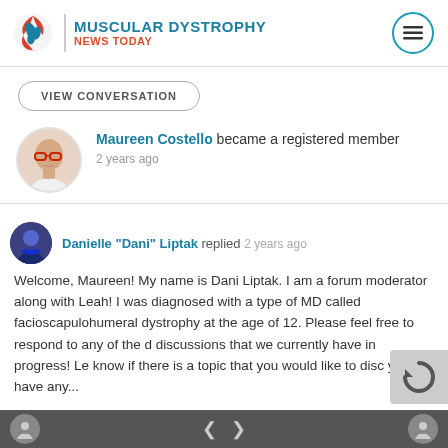MUSCULAR DYSTROPHY NEWS TODAY
VIEW CONVERSATION
Maureen Costello became a registered member
2 years ago
Danielle "Dani" Liptak replied 2 years ago
Welcome, Maureen! My name is Dani Liptak. I am a forum moderator along with Leah! I was diagnosed with a type of MD called facioscapulohumeral dystrophy at the age of 12. Please feel free to respond to any of the discussions that we currently have in progress! Let know if there is a topic that you would like to disc you have any...